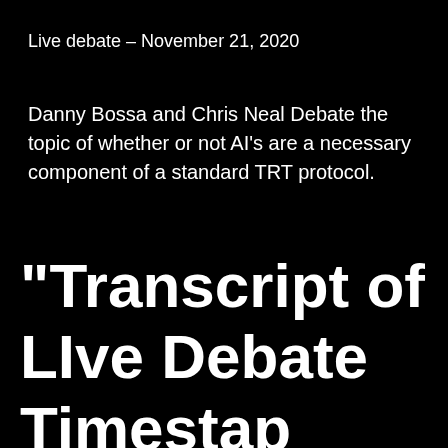Live debate – November 21, 2020
Danny Bossa and Chris Neal Debate the topic of whether or not AI's are a necessary component of a standard TRT protocol.
“Transcript of LIve Debate  Timestap corresponds with